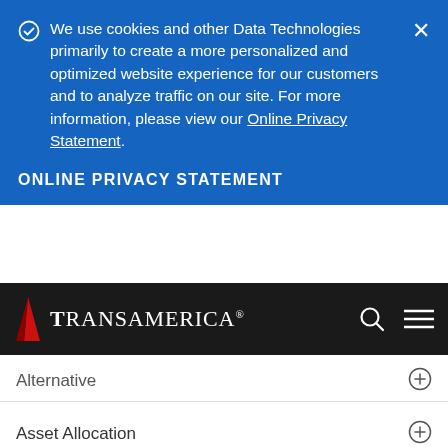We use cookies and other Data Technologies primarily to create a more personalized and optimized website experience for our customers and to analyze traffic on our site. For more information, please view our Online Privacy Statement.
ONLINE PRIVACY STATEMENT
[Figure (logo): Transamerica logo with red pyramid icon on dark navigation bar with search and menu icons]
Alternative
Asset Allocation